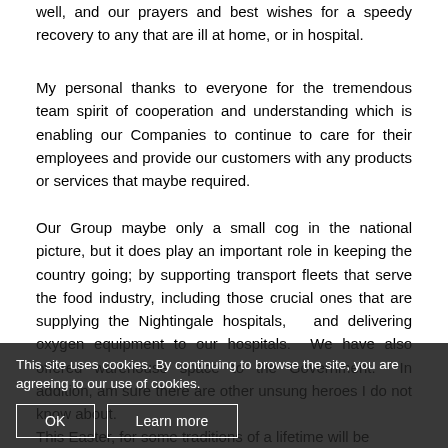well, and our prayers and best wishes for a speedy recovery to any that are ill at home, or in hospital.
My personal thanks to everyone for the tremendous team spirit of cooperation and understanding which is enabling our Companies to continue to care for their employees and provide our customers with any products or services that maybe required.
Our Group maybe only a small cog in the national picture, but it does play an important role in keeping the country going; by supporting transport fleets that serve the food industry, including those crucial ones that are supplying the Nightingale hospitals,  and delivering oxygen equipment to our hospitals.  We have also offered warehouse space to the Government.  In addition, am sure there are other unsung heroes I do not know about.
This Easter, for some traditions of a lifetime will be
This site uses cookies. By continuing to browse the site, you are agreeing to our use of cookies.